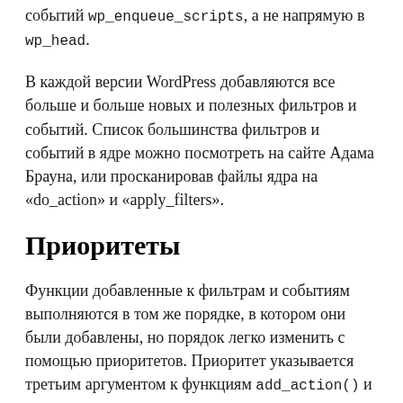событий wp_enqueue_scripts, а не напрямую в wp_head.
В каждой версии WordPress добавляются все больше и больше новых и полезных фильтров и событий. Список большинства фильтров и событий в ядре можно посмотреть на сайте Адама Брауна, или просканировав файлы ядра на «do_action» и «apply_filters».
Приоритеты
Функции добавленные к фильтрам и событиям выполняются в том же порядке, в котором они были добавлены, но порядок легко изменить с помощью приоритетов. Приоритет указывается третьим аргументом к функциям add_action() и add_filter().
Без указания этого аргумента функции к фильтрам и событиям добавляются по умолчанию с приоритетом 10. Функции выполняются от меньшего приоритета к